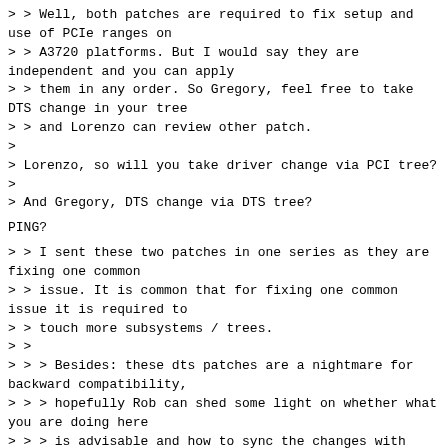> > Well, both patches are required to fix setup and use of PCIe ranges on
> > A3720 platforms. But I would say they are independent and you can apply
> > them in any order. So Gregory, feel free to take DTS change in your tree
> > and Lorenzo can review other patch.
>
> Lorenzo, so will you take driver change via PCI tree?
>
> And Gregory, DTS change via DTS tree?
PING?
> > I sent these two patches in one series as they are fixing one common
> > issue. It is common that for fixing one common issue it is required to
> > touch more subsystems / trees.
> >
> > > Besides: these dts patches are a nightmare for backward compatibility,
> > > hopefully Rob can shed some light on whether what you are doing here
> > > is advisable and how to sync the changes with kernel changes.
> >
> > As written in comment for armada-3720-turris-mox.dts file, there are
> > specific requirements what needs to be put into